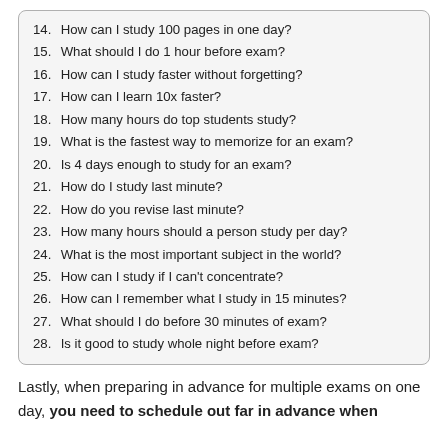14. How can I study 100 pages in one day?
15. What should I do 1 hour before exam?
16. How can I study faster without forgetting?
17. How can I learn 10x faster?
18. How many hours do top students study?
19. What is the fastest way to memorize for an exam?
20. Is 4 days enough to study for an exam?
21. How do I study last minute?
22. How do you revise last minute?
23. How many hours should a person study per day?
24. What is the most important subject in the world?
25. How can I study if I can't concentrate?
26. How can I remember what I study in 15 minutes?
27. What should I do before 30 minutes of exam?
28. Is it good to study whole night before exam?
Lastly, when preparing in advance for multiple exams on one day, you need to schedule out far in advance when